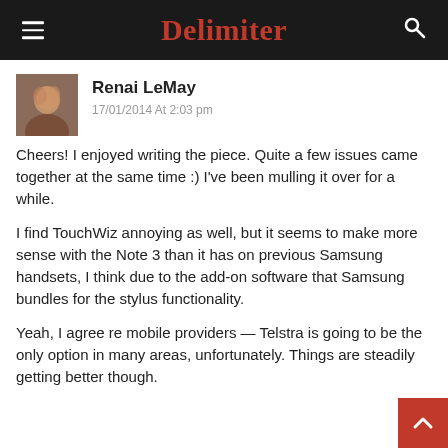Delimiter
Renai LeMay
17/01/2014 At 2:03 pm
Cheers! I enjoyed writing the piece. Quite a few issues came together at the same time :) I've been mulling it over for a while.
I find TouchWiz annoying as well, but it seems to make more sense with the Note 3 than it has on previous Samsung handsets, I think due to the add-on software that Samsung bundles for the stylus functionality.
Yeah, I agree re mobile providers — Telstra is going to be the only option in many areas, unfortunately. Things are steadily getting better though.